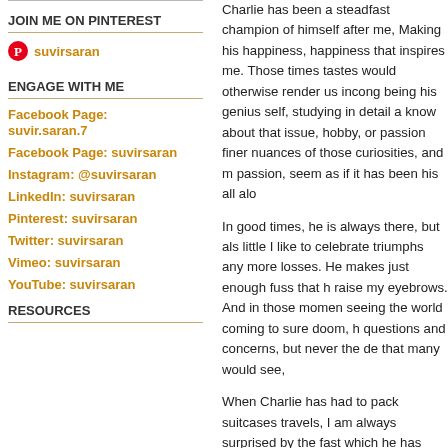JOIN ME ON PINTEREST
suvirsaran
ENGAGE WITH ME
Facebook Page: suvir.saran.7
Facebook Page: suvirsaran
Instagram: @suvirsaran
LinkedIn: suvirsaran
Pinterest: suvirsaran
Twitter: suvirsaran
Vimeo: suvirsaran
YouTube: suvirsaran
RESOURCES
Charlie has been a steadfast champion of himself after me, Making his happiness, happiness that inspires me. Those times tastes would otherwise render us incong being his genius self, studying in detail a know about that issue, hobby, or passion finer nuances of those curiosities, and m passion, seem as if it has been his all alo
In good times, he is always there, but als little I like to celebrate triumphs any more losses. He makes just enough fuss that h raise my eyebrows. And in those momen seeing the world coming to sure doom, h questions and concerns, but never the de that many would see,
When Charlie has had to pack suitcases travels, I am always surprised by the fast which he has chosen each garment and mirroring the choices I know for certain th Each detail chosen so carefully so as to thoughts and ideas that I would have had own mind, and thus made the pairing,